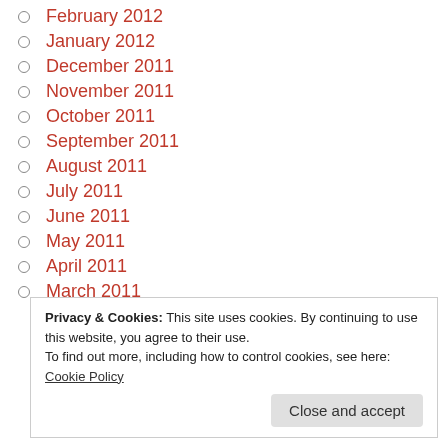February 2012
January 2012
December 2011
November 2011
October 2011
September 2011
August 2011
July 2011
June 2011
May 2011
April 2011
March 2011
Privacy & Cookies: This site uses cookies. By continuing to use this website, you agree to their use. To find out more, including how to control cookies, see here: Cookie Policy